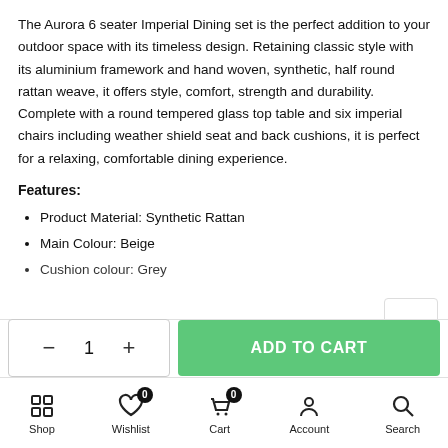The Aurora 6 seater Imperial Dining set is the perfect addition to your outdoor space with its timeless design. Retaining classic style with its aluminium framework and hand woven, synthetic, half round rattan weave, it offers style, comfort, strength and durability. Complete with a round tempered glass top table and six imperial chairs including weather shield seat and back cushions, it is perfect for a relaxing, comfortable dining experience.
Features:
Product Material: Synthetic Rattan
Main Colour: Beige
Cushion colour: Grey